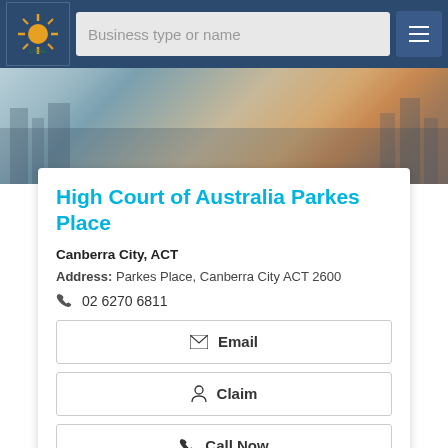[Figure (screenshot): Navigation bar with logo, search box 'Business type or name', and hamburger menu button]
[Figure (photo): Background hero image showing a cityscape/landscape with sunset colors]
High Court of Australia Parkes Place
Canberra City, ACT
Address: Parkes Place, Canberra City ACT 2600
02 6270 6811
Email
Claim
Call Now